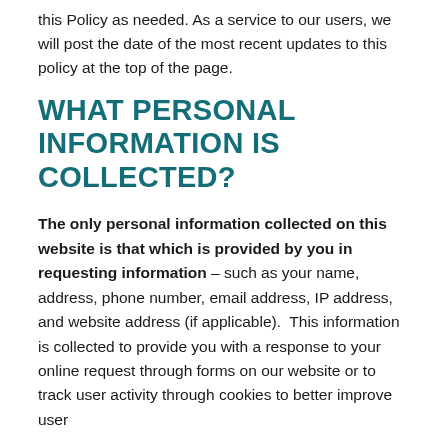this Policy as needed. As a service to our users, we will post the date of the most recent updates to this policy at the top of the page.
WHAT PERSONAL INFORMATION IS COLLECTED?
The only personal information collected on this website is that which is provided by you in requesting information – such as your name, address, phone number, email address, IP address, and website address (if applicable).  This information is collected to provide you with a response to your online request through forms on our website or to track user activity through cookies to better improve user